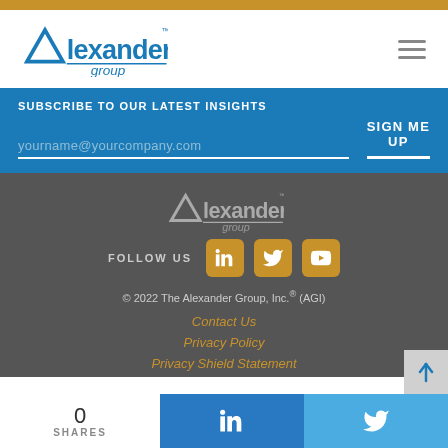Alexander Group logo header with navigation hamburger menu
SUBSCRIBE TO OUR LATEST INSIGHTS
yourname@yourcompany.com  SIGN ME UP
[Figure (logo): Alexander Group logo in white/grey on dark background]
FOLLOW US
[Figure (illustration): LinkedIn, Twitter, YouTube social media icons in orange]
© 2022 The Alexander Group, Inc.® (AGI)
Contact Us
Privacy Policy
Privacy Shield Statement
0 SHARES  in  (Twitter bird icon)